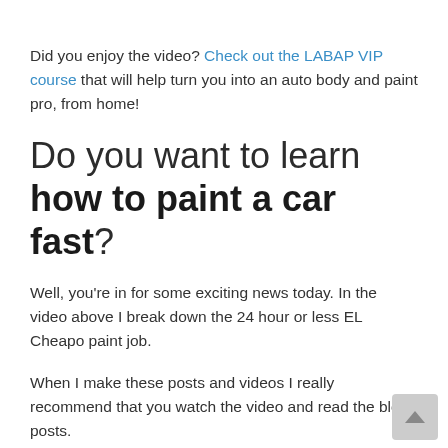Did you enjoy the video? Check out the LABAP VIP course that will help turn you into an auto body and paint pro, from home!
Do you want to learn how to paint a car fast?
Well, you're in for some exciting news today. In the video above I break down the 24 hour or less EL Cheapo paint job.
When I make these posts and videos I really recommend that you watch the video and read the blog posts.
Why? because sometimes I miss things in the